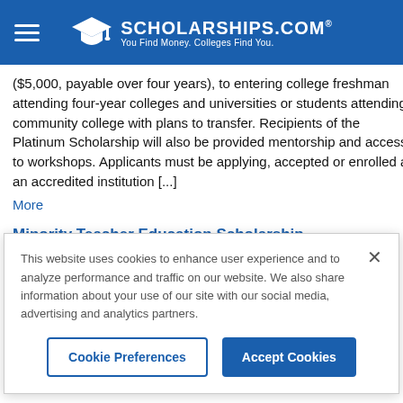SCHOLARSHIPS.COM® — You Find Money. Colleges Find You.
($5,000, payable over four years), to entering college freshman attending four-year colleges and universities or students attending community college with plans to transfer. Recipients of the Platinum Scholarship will also be provided mentorship and access to workshops. Applicants must be applying, accepted or enrolled at an accredited institution [...] More
Minority Teacher Education Scholarship
Application Deadline: Varies
This website uses cookies to enhance user experience and to analyze performance and traffic on our website. We also share information about your use of our site with our social media, advertising and analytics partners.